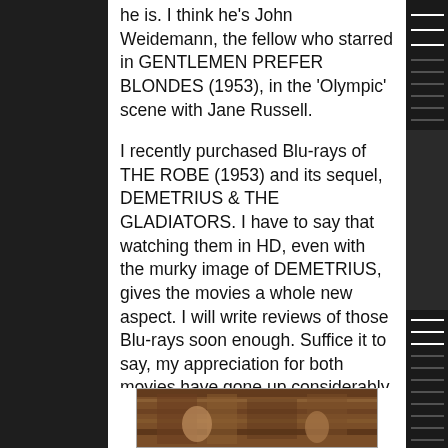he is. I think he's John Weidemann, the fellow who starred in GENTLEMEN PREFER BLONDES (1953), in the 'Olympic' scene with Jane Russell.
I recently purchased Blu-rays of THE ROBE (1953) and its sequel, DEMETRIUS & THE GLADIATORS. I have to say that watching them in HD, even with the murky image of DEMETRIUS, gives the movies a whole new aspect. I will write reviews of those Blu-rays soon enough. Suffice it to say, my appreciation for both movies have gone up considerably.
Does anyone have the US Blu-ray release of DEMETRIUS? Is the image this murky? This Blu-ray is from a Spanish edition (since the US one is out of print and the copies for sale out there are too expensive).
[Figure (photo): A partial movie still or film screenshot showing what appears to be an ancient/historical scene, cropped at the bottom of the page]